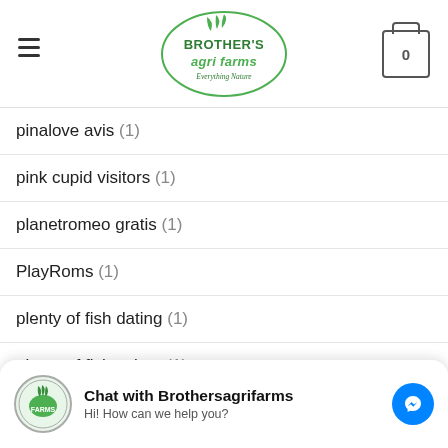Brother's Agri Farms — Everything Nature
pinalove avis (1)
pink cupid visitors (1)
planetromeo gratis (1)
PlayRoms (1)
plenty of fish dating (1)
plenty of fish seiten (1)
plenty-of-fish-overzicht beoordelingen (1)
pof-vs-match free (1)
Chat with Brothersagrifarms — Hi! How can we help you?
p... okcupid reviews (1)